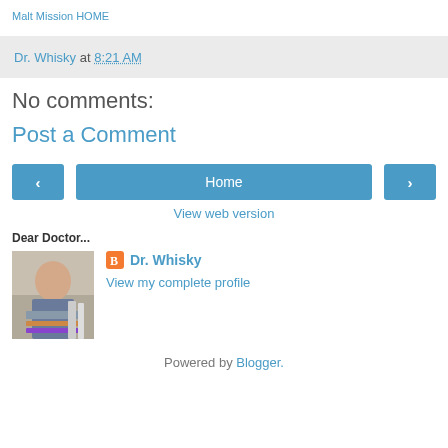Malt Mission HOME
Dr. Whisky at 8:21 AM
No comments:
Post a Comment
Home
View web version
Dear Doctor...
Dr. Whisky
View my complete profile
Powered by Blogger.